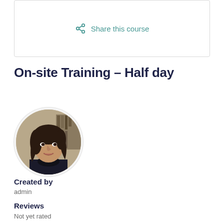Share this course
On-site Training – Half day
[Figure (photo): Circular profile photo of a woman with dark hair, wearing a dark top, in an office/library setting]
Created by
admin
Reviews
Not yet rated